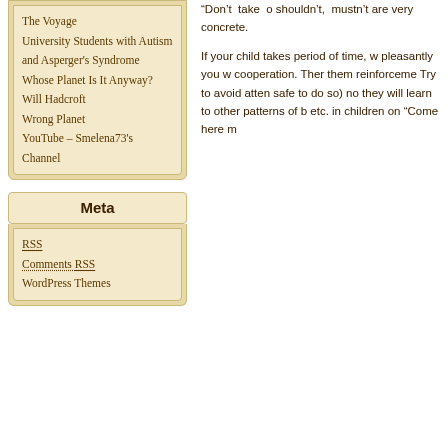The Voyage
University Students with Autism and Asperger's Syndrome
Whose Planet Is It Anyway?
Will Hadcroft
Wrong Planet
YouTube – Smelena73's Channel
Meta
RSS
Comments RSS
WordPress Themes
“Don't take shouldn't, mustn't are very concrete.
If your child takes period of time, w pleasantly you w cooperation. Ther them reinforceme Try to avoid atten safe to do so) no they will learn to other patterns of b etc. in children on “Come here m